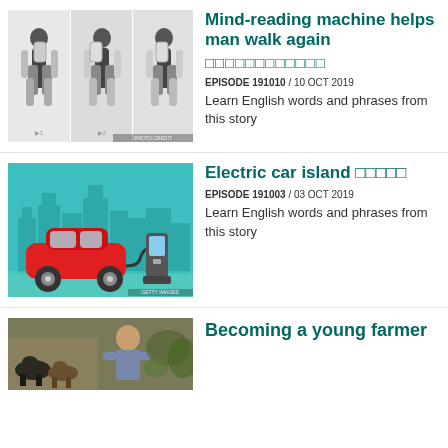[Figure (photo): Three sequential photos of a man wearing a robotic exoskeleton suit walking]
Mind-reading machine helps man walk again
□□□□□□□□□□□□
EPISODE 191010 / 10 OCT 2019
Learn English words and phrases from this story
[Figure (illustration): Illustration of a red electric car charging at a charging station with teal city background]
Electric car island □□□□□
EPISODE 191003 / 03 OCT 2019
Learn English words and phrases from this story
[Figure (photo): Photo of a young man with cattle at a farm]
Becoming a young farmer